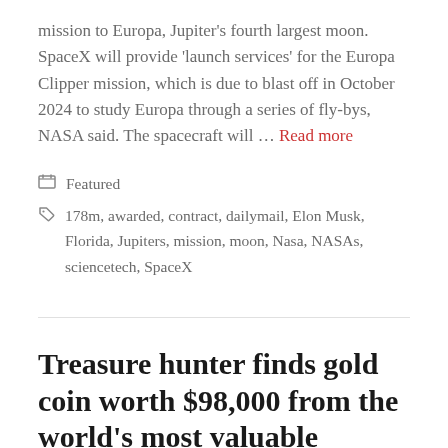mission to Europa, Jupiter's fourth largest moon. SpaceX will provide 'launch services' for the Europa Clipper mission, which is due to blast off in October 2024 to study Europa through a series of fly-bys, NASA said. The spacecraft will … Read more
Featured
178m, awarded, contract, dailymail, Elon Musk, Florida, Jupiters, mission, moon, Nasa, NASAs, sciencetech, SpaceX
Treasure hunter finds gold coin worth $98,000 from the world's most valuable shipwreck